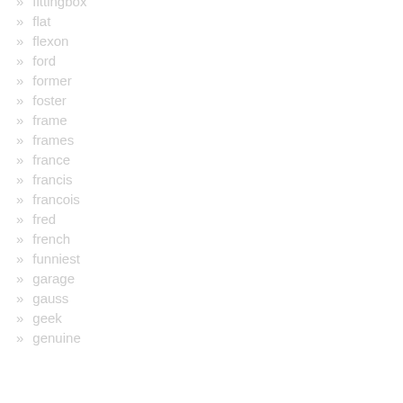fittingbox
flat
flexon
ford
former
foster
frame
frames
france
francis
francois
fred
french
funniest
garage
gauss
geek
genuine